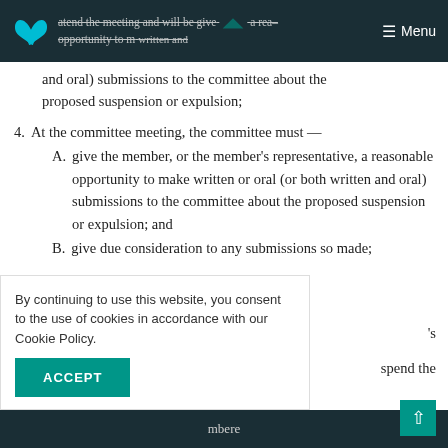attend the meeting and will be given a reasonable opportunity to make written and oral submissions to the committee about the proposed suspension or expulsion; | Menu
and oral) submissions to the committee about the proposed suspension or expulsion;
4. At the committee meeting, the committee must —
A. give the member, or the member's representative, a reasonable opportunity to make written or oral (or both written and oral) submissions to the committee about the proposed suspension or expulsion; and
B. give due consideration to any submissions so made;
By continuing to use this website, you consent to the use of cookies in accordance with our Cookie Policy.
's spend the or om the
mbere